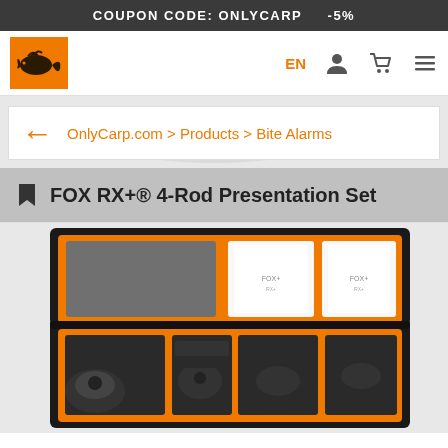COUPON CODE: ONLYCARP    -5%
[Figure (logo): OnlyCarp orange logo with carp fish illustration]
EN
OnlyCarp.com > Products > Bite Alarms
FOX RX+® 4-Rod Presentation Set
[Figure (photo): FOX RX+ 4-Rod Presentation Set in open black and orange presentation case showing bite alarms, receiver units and accessories]